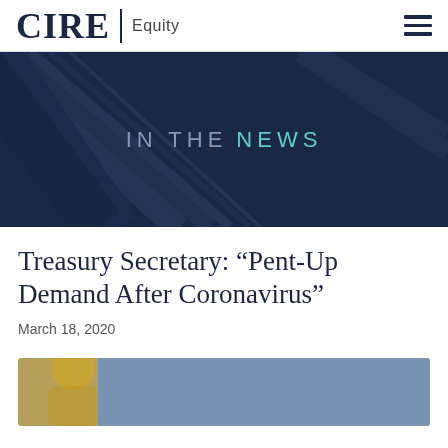CIRE Equity
[Figure (illustration): Dark navy blue hero banner with diagonal architectural lines in the background and the text IN THE NEWS centered, where IN THE is in a muted blue-grey and NEWS is in teal.]
Treasury Secretary: “Pent-Up Demand After Coronavirus”
March 18, 2020
[Figure (photo): Bottom portion of a photo showing a person in a suit, cropped at the bottom of the page.]